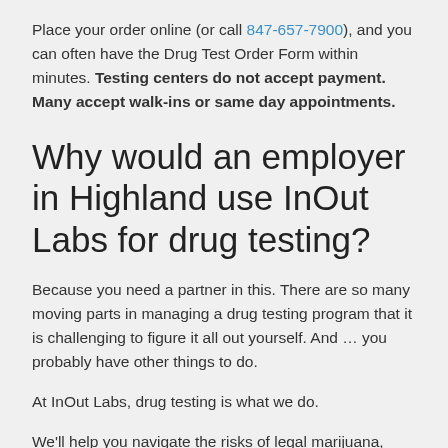Place your order online (or call 847-657-7900), and you can often have the Drug Test Order Form within minutes. Testing centers do not accept payment. Many accept walk-ins or same day appointments.
Why would an employer in Highland use InOut Labs for drug testing?
Because you need a partner in this. There are so many moving parts in managing a drug testing program that it is challenging to figure it all out yourself. And … you probably have other things to do.
At InOut Labs, drug testing is what we do.
We'll help you navigate the risks of legal marijuana,